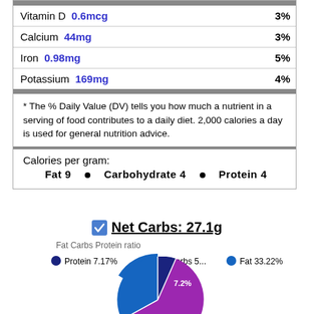| Nutrient | Amount | % DV |
| --- | --- | --- |
| Vitamin D | 0.6mcg | 3% |
| Calcium | 44mg | 3% |
| Iron | 0.98mg | 5% |
| Potassium | 169mg | 4% |
* The % Daily Value (DV) tells you how much a nutrient in a serving of food contributes to a daily diet. 2,000 calories a day is used for general nutrition advice.
Calories per gram:
Fat 9  .  Carbohydrate 4  .  Protein 4
Net Carbs: 27.1g
[Figure (pie-chart): Fat Carbs Protein ratio]